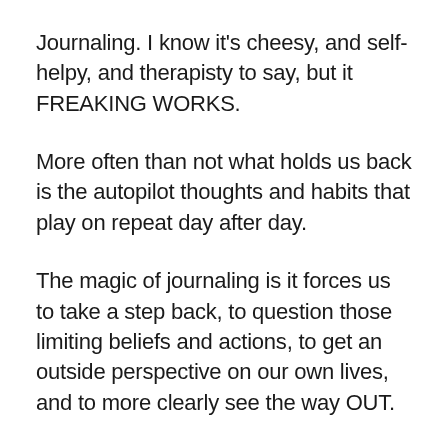Journaling. I know it's cheesy, and self-helpy, and therapisty to say, but it FREAKING WORKS.
More often than not what holds us back is the autopilot thoughts and habits that play on repeat day after day.
The magic of journaling is it forces us to take a step back, to question those limiting beliefs and actions, to get an outside perspective on our own lives, and to more clearly see the way OUT.
But I know journaling can be…